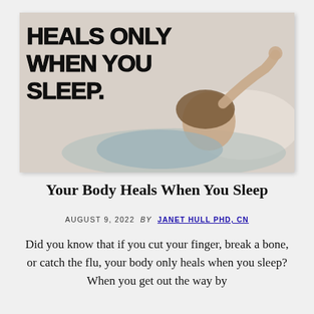[Figure (photo): Photo of a sleeping person lying in bed with text overlay in handwritten style reading 'HEALS ONLY WHEN YOU SLEEP.']
Your Body Heals When You Sleep
AUGUST 9, 2022  By  JANET HULL PHD, CN
Did you know that if you cut your finger, break a bone, or catch the flu, your body only heals when you sleep? When you get out the way by